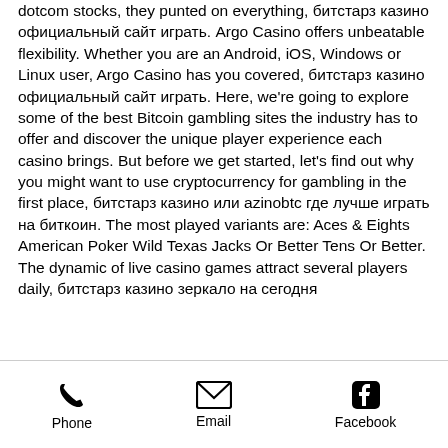dotcom stocks, they punted on everything, битстарз казино официальный сайт играть. Argo Casino offers unbeatable flexibility. Whether you are an Android, iOS, Windows or Linux user, Argo Casino has you covered, битстарз казино официальный сайт играть. Here, we're going to explore some of the best Bitcoin gambling sites the industry has to offer and discover the unique player experience each casino brings. But before we get started, let's find out why you might want to use cryptocurrency for gambling in the first place, битстарз казино или azinobtc где лучше играть на биткоин. The most played variants are: Aces & Eights American Poker Wild Texas Jacks Or Better Tens Or Better. The dynamic of live casino games attract several players daily, битстарз казино зеркало на сегодня
Phone  Email  Facebook